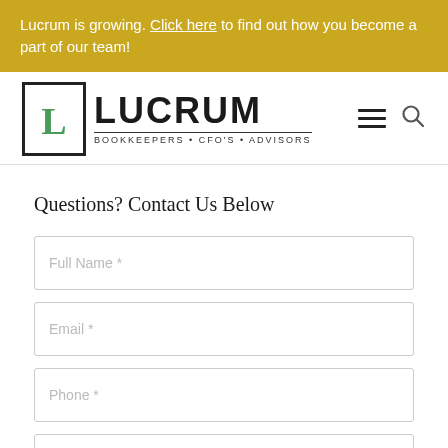Lucrum is growing. Click here to find out how you become a part of our team!
[Figure (logo): Lucrum Bookkeepers CFO's Advisors logo with a stylized L in a box]
Questions? Contact Us Below
Full Name *
Email *
Phone *
Company Name *